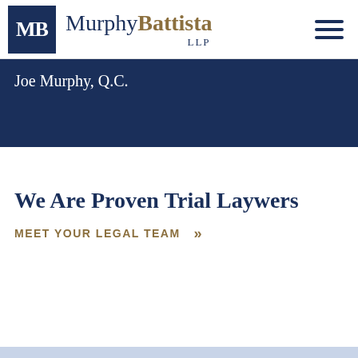[Figure (logo): MurphyBattista LLP law firm logo with dark blue MB box and firm name]
Joe Murphy, Q.C.
We Are Proven Trial Laywers
MEET YOUR LEGAL TEAM »